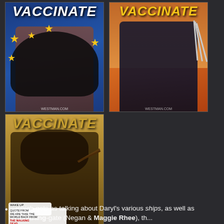[Figure (illustration): Comic-style illustration of Wonder Woman wearing a mask with text VACCINATE at top, blue background with gold stars]
[Figure (illustration): Comic-style illustration of Wolverine/mutant character wearing mask with claws extended, text VACCINATE at top, orange background]
[Figure (illustration): Comic-style illustration of Daryl Dixon character wearing mask with crossbow, text VACCINATE at top, golden/tan background]
...which gets as talking about Daryl's various ships, as well as #HateBang-gate (Negan & Maggie Rhee), th...